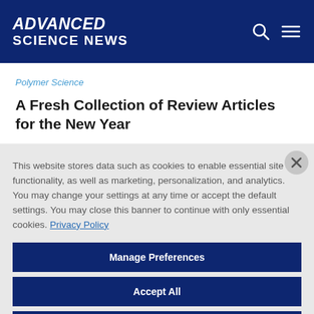ADVANCED SCIENCE NEWS
Polymer Science
A Fresh Collection of Review Articles for the New Year
This website stores data such as cookies to enable essential site functionality, as well as marketing, personalization, and analytics. You may change your settings at any time or accept the default settings. You may close this banner to continue with only essential cookies. Privacy Policy
Manage Preferences
Accept All
Reject All